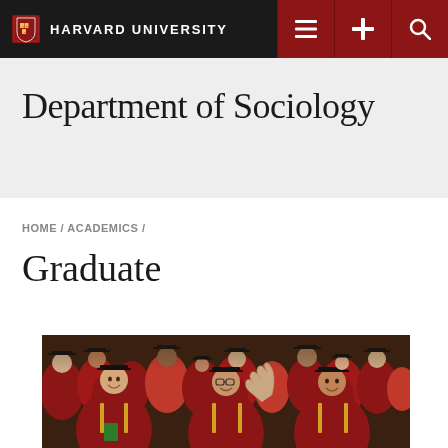HARVARD UNIVERSITY
Department of Sociology
HOME / ACADEMICS /
Graduate
[Figure (photo): Crowd of Harvard graduates in red and black academic regalia (caps and gowns) at a graduation ceremony, smiling and waving]